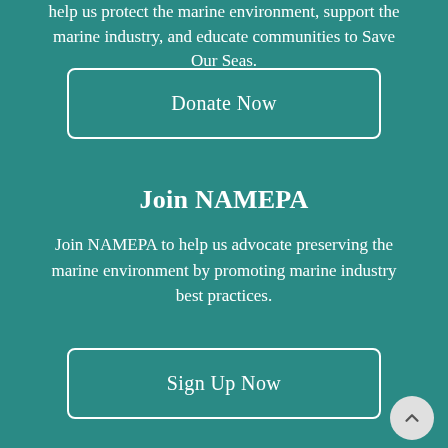help us protect the marine environment, support the marine industry, and educate communities to Save Our Seas.
Donate Now
Join NAMEPA
Join NAMEPA to help us advocate preserving the marine environment by promoting marine industry best practices.
Sign Up Now